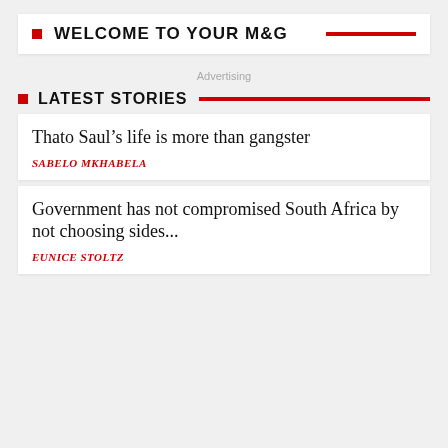WELCOME TO YOUR M&G
Advertising
LATEST STORIES
Thato Saul’s life is more than gangster
SABELO MKHABELA
Government has not compromised South Africa by not choosing sides...
EUNICE STOLTZ